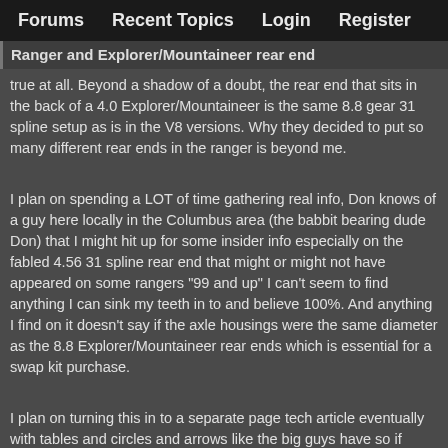Forums   Recent Topics   Login   Register
Ranger and Explorer/Mountaineer rear end
true at all. Beyond a shadow of a doubt, the rear end that sits in the back of a 4.0 Explorer/Mountaineer is the same 8.8 gear 31 spline setup as is in the V8 versions. Why they decided to put so many different rear ends in the ranger is beyond me.
I plan on spending a LOT of time gathering real info, Don knows of a guy here locally in the Columbus area (the babbit bearing dude Don) that I might hit up for some insider info especially on the fabled 4.56 31 spline rear end that might or might not have appeared on some rangers "99 and up" I can't seem to find anything I can sink my teeth in to and believe 100%. And anything I find on it doesn't say if the axle housings were the same diameter as the 8.8 Explorer/Mountaineer rear ends which is essential for a swap kit purchase.
I plan on turning this in to a separate page tech article eventually with tables and circles and arrows like the big guys have so if anyone has explicit info or has seen with their own eyes the unicorn rear end